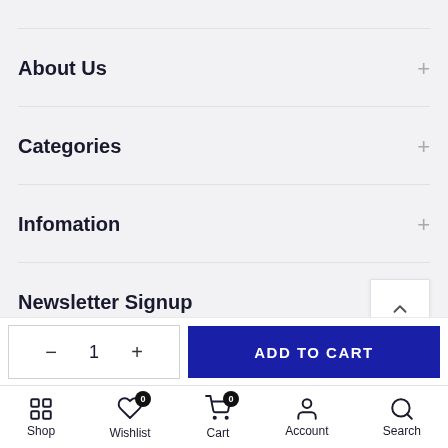About Us
Categories
Infomation
Newsletter Signup
ADD TO CART
Shop  Wishlist  Cart  Account  Search